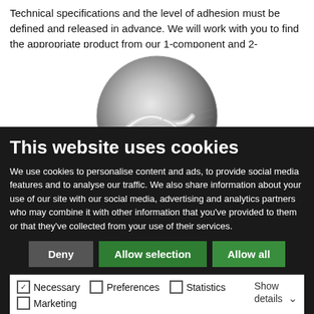Technical specifications and the level of adhesion must be defined and released in advance. We will work with you to find the appropriate product from our 1-component and 2-component solutions.
[Figure (photo): Grayscale spherical close-up photo of a curved transparent adhesive bead or component on a metallic surface]
This website uses cookies
We use cookies to personalise content and ads, to provide social media features and to analyse our traffic. We also share information about your use of our site with our social media, advertising and analytics partners who may combine it with other information that you've provided to them or that they've collected from your use of their services.
Deny | Allow selection | Allow all
☑ Necessary  ☐ Preferences  ☐ Statistics  ☐ Marketing  Show details